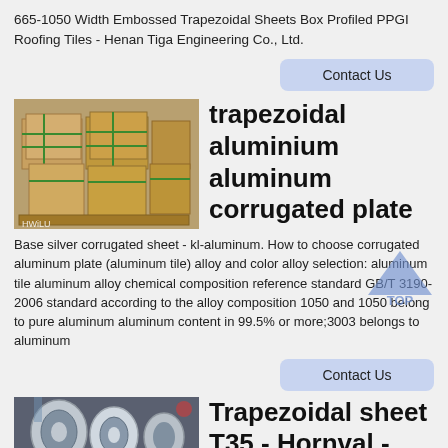665-1050 Width Embossed Trapezoidal Sheets Box Profiled PPGI Roofing Tiles - Henan Tiga Engineering Co., Ltd.
Contact Us
[Figure (photo): Stacked cardboard-wrapped packages on pallets in a warehouse, labeled HWiLU]
trapezoidal aluminium aluminum corrugated plate
Base silver corrugated sheet - kl-aluminum. How to choose corrugated aluminum plate (aluminum tile) alloy and color alloy selection: aluminum tile aluminum alloy chemical composition reference standard GB/T 3190-2006 standard according to the alloy composition 1050 and 1050 belong to pure aluminum aluminum content in 99.5% or more;3003 belongs to aluminum
Contact Us
[Figure (photo): Rolls of metallic sheet material in an industrial warehouse]
Trapezoidal sheet T35 - Hornval -